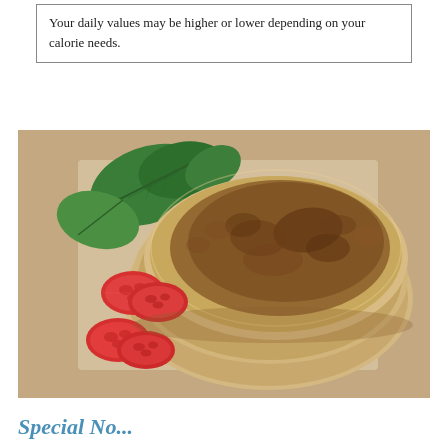Your daily values may be higher or lower depending on your calorie needs.
[Figure (photo): Overhead photo of stacked whole wheat flatbreads/tortillas on a wooden surface, with fresh spinach leaves and halved cherry tomatoes arranged around them.]
Special No...